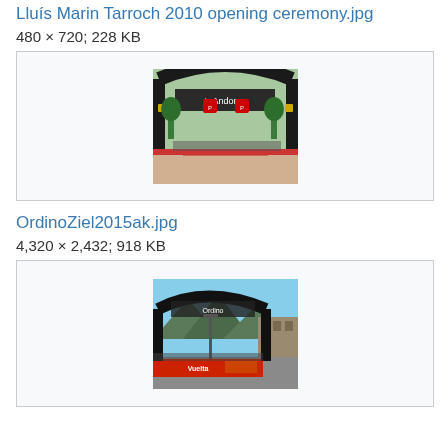Lluís Marin Tarroch 2010 opening ceremony.jpg
480 × 720; 228 KB
[Figure (photo): Photo of an arch gateway with 'Andorra' text, decorated for a cycling event, with red and white barriers, trees in background]
OrdinoZiel2015ak.jpg
4,320 × 2,432; 918 KB
[Figure (photo): Photo of a finish line arch at a cycling event in Ordino, with mountains in background and red/orange advertising banners]